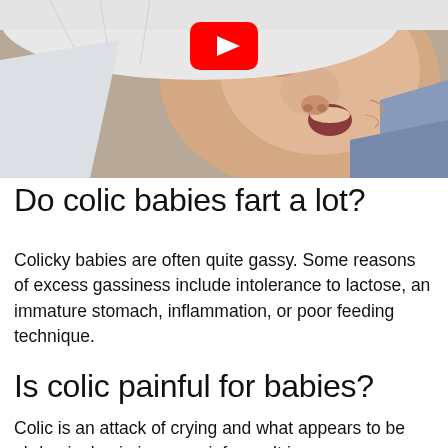[Figure (photo): Close-up photo of a newborn baby crying or with mouth open, wearing a white hat and wrapped in a blanket. A YouTube play button icon is overlaid in the upper center.]
Do colic babies fart a lot?
Colicky babies are often quite gassy. Some reasons of excess gassiness include intolerance to lactose, an immature stomach, inflammation, or poor feeding technique.
Is colic painful for babies?
Colic is an attack of crying and what appears to be abdominal pain in young infancy. It is a